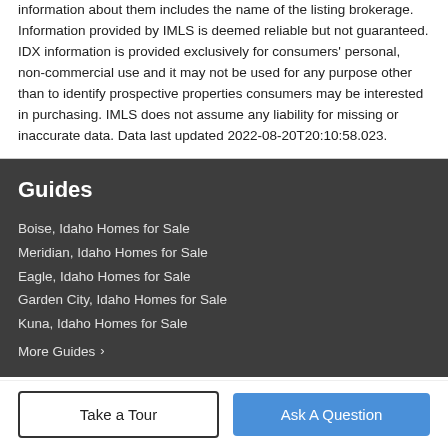information about them includes the name of the listing brokerage. Information provided by IMLS is deemed reliable but not guaranteed. IDX information is provided exclusively for consumers' personal, non-commercial use and it may not be used for any purpose other than to identify prospective properties consumers may be interested in purchasing. IMLS does not assume any liability for missing or inaccurate data. Data last updated 2022-08-20T20:10:58.023.
Guides
Boise, Idaho Homes for Sale
Meridian, Idaho Homes for Sale
Eagle, Idaho Homes for Sale
Garden City, Idaho Homes for Sale
Kuna, Idaho Homes for Sale
More Guides ›
Take a Tour
Ask A Question